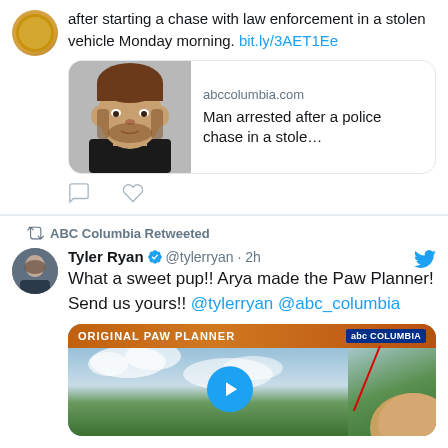after starting a chase with law enforcement in a stolen vehicle Monday morning. bit.ly/3AET1Ee
[Figure (screenshot): Link preview card showing a mugshot photo on left and text 'abccolumbia.com / Man arrested after a police chase in a stole...' on right]
ABC Columbia Retweeted
Tyler Ryan @tylerryan · 2h
What a sweet pup!!  Arya made the Paw Planner! Send us yours!!  @tylerryan @abc_columbia
[Figure (screenshot): Video thumbnail showing 'ORIGINAL PAW PLANNER' banner, sky background with clouds, a play button, a red pointer arrow, and a dog's paw in the corner]